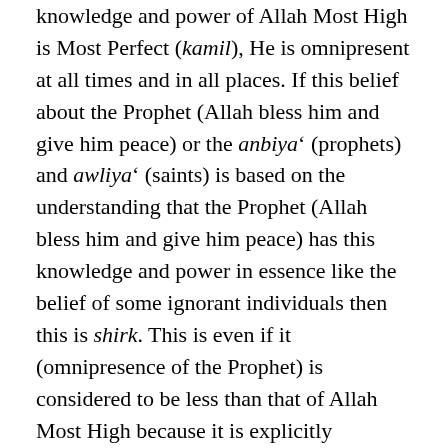knowledge and power of Allah Most High is Most Perfect (kamil), He is omnipresent at all times and in all places. If this belief about the Prophet (Allah bless him and give him peace) or the anbiya' (prophets) and awliya' (saints) is based on the understanding that the Prophet (Allah bless him and give him peace) has this knowledge and power in essence like the belief of some ignorant individuals then this is shirk. This is even if it (omnipresence of the Prophet) is considered to be less than that of Allah Most High because it is explicitly mentioned in the Qur'an that the mushrikin (polytheists) of Arabia were engaged in shirk. It is also established by the Qur'an that they did not consider their demigods equal to Allah.
If it is believed that Allah Most High informs and gives permission [to the Prophet] then this will not be shirk although [such a belief] without having a basis in the Shar'iah is certainly a sin. This is